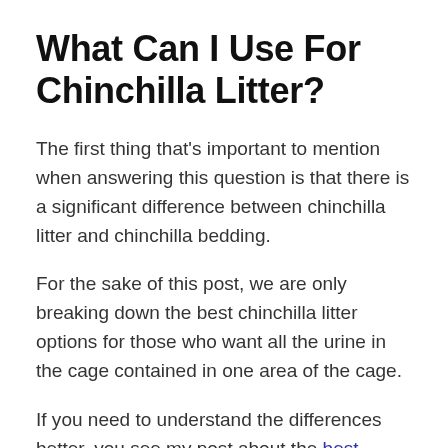What Can I Use For Chinchilla Litter?
The first thing that's important to mention when answering this question is that there is a significant difference between chinchilla litter and chinchilla bedding.
For the sake of this post, we are only breaking down the best chinchilla litter options for those who want all the urine in the cage contained in one area of the cage.
If you need to understand the differences better, you see my post about the best chinchilla bedding